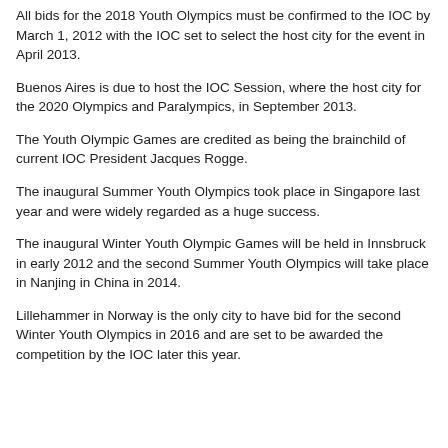All bids for the 2018 Youth Olympics must be confirmed to the IOC by March 1, 2012 with the IOC set to select the host city for the event in April 2013.
Buenos Aires is due to host the IOC Session, where the host city for the 2020 Olympics and Paralympics, in September 2013.
The Youth Olympic Games are credited as being the brainchild of current IOC President Jacques Rogge.
The inaugural Summer Youth Olympics took place in Singapore last year and were widely regarded as a huge success.
The inaugural Winter Youth Olympic Games will be held in Innsbruck in early 2012 and the second Summer Youth Olympics will take place in Nanjing in China in 2014.
Lillehammer in Norway is the only city to have bid for the second Winter Youth Olympics in 2016 and are set to be awarded the competition by the IOC later this year.